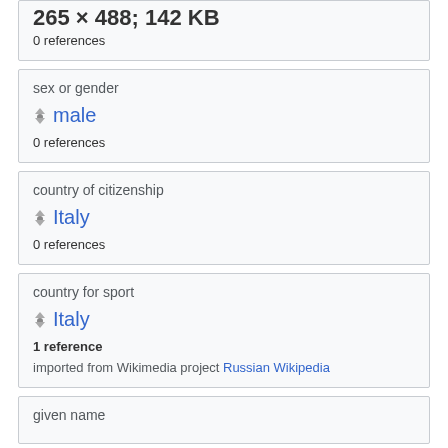265 × 488; 142 KB
0 references
sex or gender
male
0 references
country of citizenship
Italy
0 references
country for sport
Italy
1 reference
imported from Wikimedia project Russian Wikipedia
given name